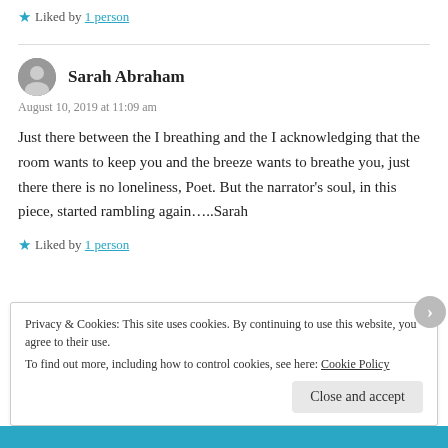★ Liked by 1 person
Sarah Abraham
August 10, 2019 at 11:09 am
Just there between the I breathing and the I acknowledging that the room wants to keep you and the breeze wants to breathe you, just there there is no loneliness, Poet. But the narrator's soul, in this piece, started rambling again…..Sarah
★ Liked by 1 person
Privacy & Cookies: This site uses cookies. By continuing to use this website, you agree to their use. To find out more, including how to control cookies, see here: Cookie Policy
Close and accept